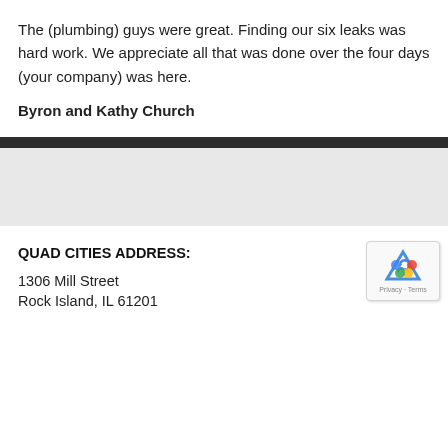The (plumbing) guys were great. Finding our six leaks was hard work. We appreciate all that was done over the four days (your company) was here.
Byron and Kathy Church
QUAD CITIES ADDRESS:
1306 Mill Street
Rock Island, IL 61201